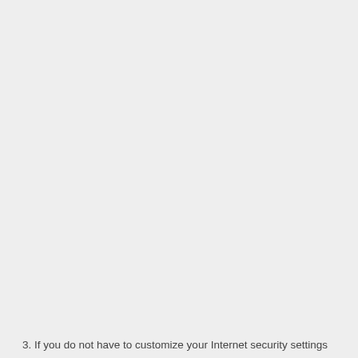3. If you do not have to customize your Internet security settings